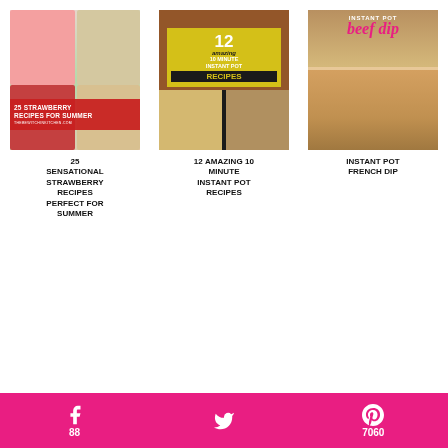[Figure (photo): Recipe card image: 25 Strawberry Recipes For Summer - collage of strawberry desserts with red overlay text]
25 SENSATIONAL STRAWBERRY RECIPES PERFECT FOR SUMMER
[Figure (photo): Recipe card image: 12 Amazing 10 Minute Instant Pot Recipes - dark background with yellow highlighted text and food photos]
12 AMAZING 10 MINUTE INSTANT POT RECIPES
[Figure (photo): Recipe card image: Instant Pot Beef Dip sandwich on a white plate, with overlay text in pink]
INSTANT POT FRENCH DIP
f 88  [twitter icon]  P 7060